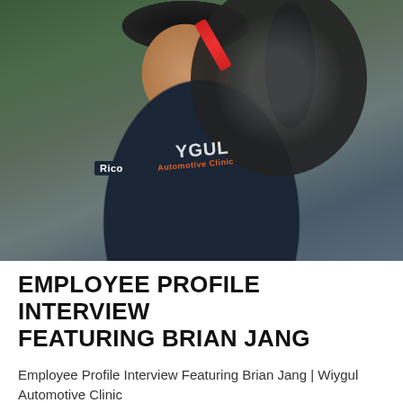[Figure (photo): A smiling male mechanic named Rico wearing a dark navy Wiygul Automotive Clinic uniform, looking upward while working on a raised vehicle. He holds a red tool and is positioned beneath a tire. The garage setting has green foliage visible in the background.]
EMPLOYEE PROFILE INTERVIEW FEATURING BRIAN JANG
Employee Profile Interview Featuring Brian Jang | Wiygul Automotive Clinic